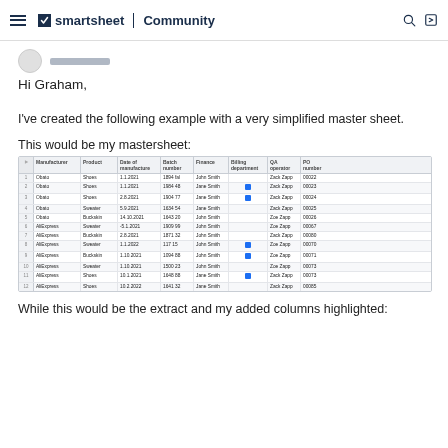smartsheet | Community
Hi Graham,
I've created the following example with a very simplified master sheet.
This would be my mastersheet:
[Figure (screenshot): Smartsheet spreadsheet screenshot showing columns: Manufacturer, Product, Date of manufacture, Batch number, Finance, Billing department, QA operator, PO number. Rows include Obato/AliExpress entries with Shoes/Sweater/Buckskin products and John Smith/Jane Smith entries.]
While this would be the extract and my added columns highlighted: